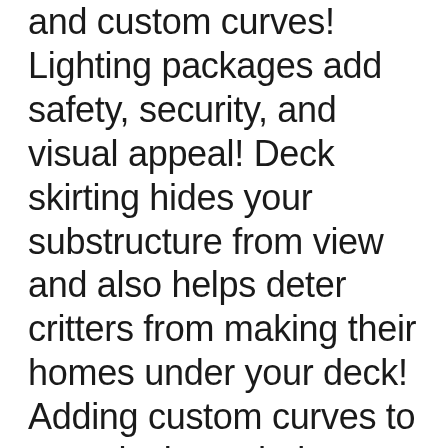and custom curves!  Lighting packages add safety, security, and visual appeal!  Deck skirting hides your substructure from view and also helps deter critters from making their homes under your deck!  Adding custom curves to your deck can help define spaces, help your deck flow with backyard landscaping, and also make your deck stand out in your neighborhood!  Not all deck builders have the capability or equipment to bend deck boards, so be sure to qualify the builder you choose to